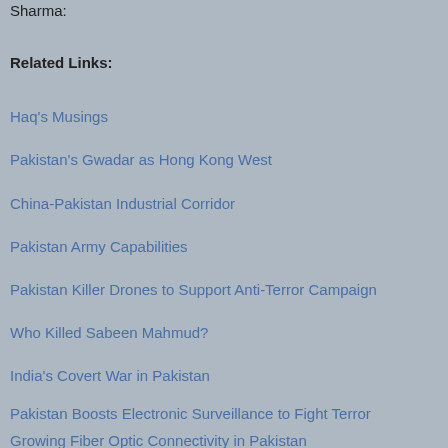Sharma:
Related Links:
Haq's Musings
Pakistan's Gwadar as Hong Kong West
China-Pakistan Industrial Corridor
Pakistan Army Capabilities
Pakistan Killer Drones to Support Anti-Terror Campaign
Who Killed Sabeen Mahmud?
India's Covert War in Pakistan
Pakistan Boosts Electronic Surveillance to Fight Terror
Growing Fiber Optic Connectivity in Pakistan